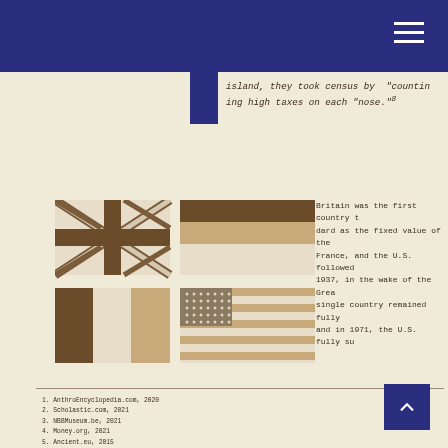island, they took census by "counting" high taxes on each "nose."⁸
[Figure (illustration): Four national flags rendered in sepia/brown tones: UK Union Jack (top-left), a tri-stripe flag resembling France or similar (top-right), Italian tricolor (bottom-left), and US Stars and Stripes (bottom-right).]
Britain was the first country to adopt the gold standard as the fixed value of the pound. Germany, France, and the U.S. followed suit. However, by 1937, in the wake of the Great Depression, no single country remained fully on the gold standard, and in 1971, the U.S. fully su
1. AnthroEncyclopedia.com, 2020
2. Scholastic.com, 2021
3. NBBMuseum.be, 2021
4. Money.org, 2021
5. Ancient.eu, 2015
6. ForumAncientCoins.com, accessed 2021
7. Time.com, 2021
8. Grammarist.com, 2021
9. Britannica.com, 2021